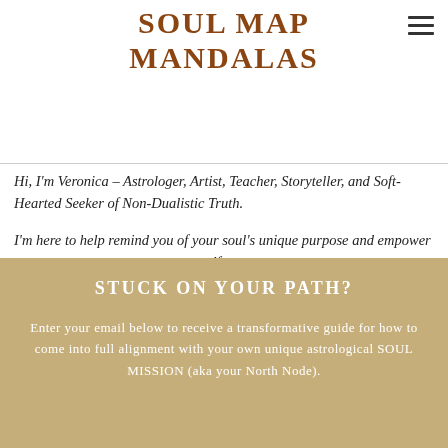SOUL MAP MANDALAS
Hi, I'm Veronica – Astrologer, Artist, Teacher, Storyteller, and Soft-Hearted Seeker of Non-Dualistic Truth.
I'm here to help remind you of your soul's unique purpose and empower you to re-connect to your truest self.
STUCK ON YOUR PATH?
Enter your email below to receive a transformative guide for how to come into full alignment with your own unique astrological SOUL MISSION (aka your North Node).